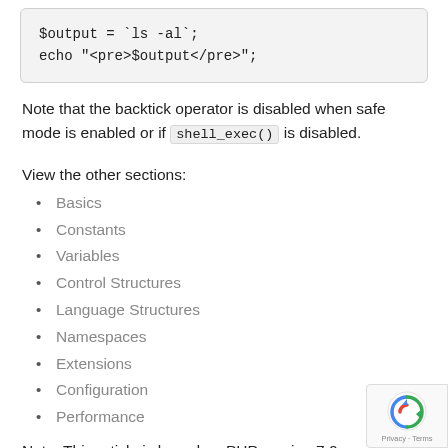[Figure (screenshot): Code block showing PHP code: $output = `ls -al`; echo "<pre>$output</pre>";]
Note that the backtick operator is disabled when safe mode is enabled or if shell_exec() is disabled.
View the other sections:
Basics
Constants
Variables
Control Structures
Language Structures
Namespaces
Extensions
Configuration
Performance
Note: This article is based on PHP version 7.0.